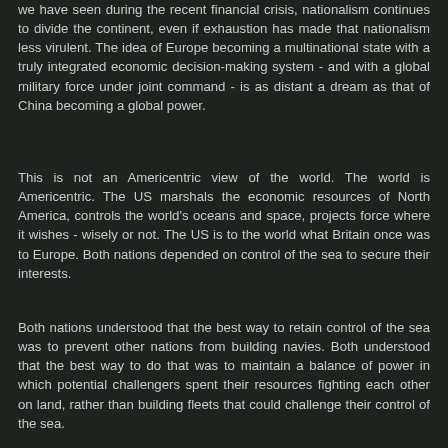we have seen during the recent financial crisis, nationalism continues to divide the continent, even if exhaustion has made that nationalism less virulent. The idea of Europe becoming a multinational state with a truly integrated economic decision-making system - and with a global military force under joint command - is as distant a dream as that of China becoming a global power.
This is not an Americentric view of the world. The world is Americentric. The US marshals the economic resources of North America, controls the world's oceans and space, projects force where it wishes - wisely or not. The US is to the world what Britain once was to Europe. Both nations depended on control of the sea to secure their interests.
Both nations understood that the best way to retain control of the sea was to prevent other nations from building navies. Both understood that the best way to do that was to maintain a balance of power in which potential challengers spent their resources fighting each other on land, rather than building fleets that could challenge their control of the sea.